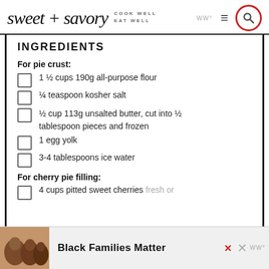sweet + savory | COOK WELL EAT WELL
INGREDIENTS
For pie crust:
1 ½ cups 190g all-purpose flour
¼ teaspoon kosher salt
½ cup 113g unsalted butter, cut into ½ tablespoon pieces and frozen
1 egg yolk
3-4 tablespoons ice water
For cherry pie filling:
4 cups pitted sweet cherries fresh or
[Figure (photo): Advertisement banner: photo of people smiling, text 'Black Families Matter' with close buttons]